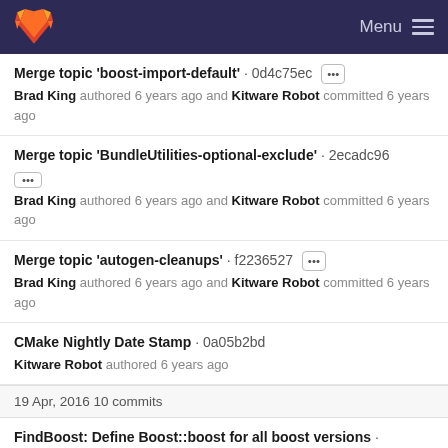GitLab Menu
Merge topic 'boost-import-default' · 0d4c75ec ··· Brad King authored 6 years ago and Kitware Robot committed 6 years ago
Merge topic 'BundleUtilities-optional-exclude' · 2ecadc96 ··· Brad King authored 6 years ago and Kitware Robot committed 6 years ago
Merge topic 'autogen-cleanups' · f2236527 ··· Brad King authored 6 years ago and Kitware Robot committed 6 years ago
CMake Nightly Date Stamp · 0a05b2bd Kitware Robot authored 6 years ago
19 Apr, 2016 10 commits
FindBoost: Define Boost::boost for all boost versions · 2c1b720e